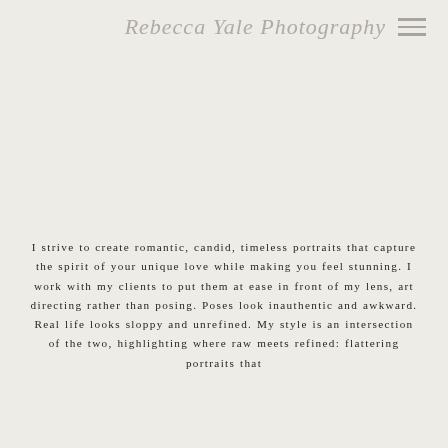Rebecca Yale Photography
I strive to create romantic, candid, timeless portraits that capture the spirit of your unique love while making you feel stunning. I work with my clients to put them at ease in front of my lens, art directing rather than posing. Poses look inauthentic and awkward. Real life looks sloppy and unrefined. My style is an intersection of the two, highlighting where raw meets refined: flattering portraits that